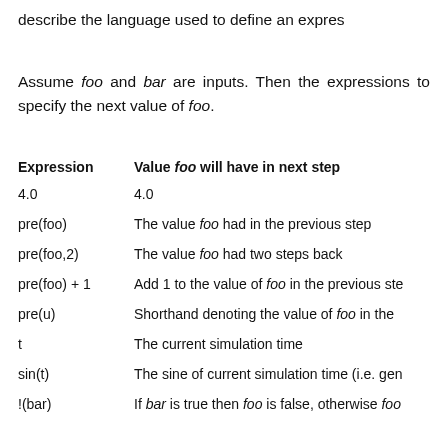describe the language used to define an expres…
Assume foo and bar are inputs. Then the… expressions to specify the next value of foo.
| Expression | Value foo will have in next step |
| --- | --- |
| 4.0 | 4.0 |
| pre(foo) | The value foo had in the previous step |
| pre(foo,2) | The value foo had two steps back |
| pre(foo) + 1 | Add 1 to the value of foo in the previous ste… |
| pre(u) | Shorthand denoting the value of foo in the… |
| t | The current simulation time |
| sin(t) | The sine of current simulation time (i.e. gen… |
| !(bar) | If bar is true then foo is false, otherwise foo… |